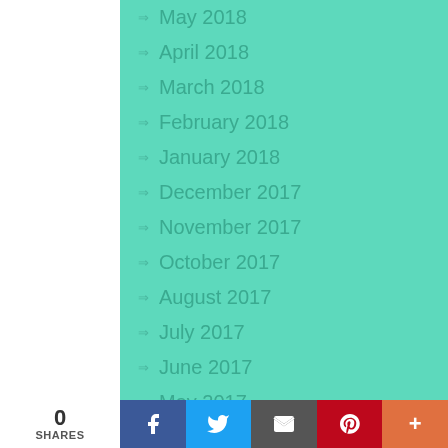May 2018
April 2018
March 2018
February 2018
January 2018
December 2017
November 2017
October 2017
August 2017
July 2017
June 2017
May 2017
0 SHARES | Facebook | Twitter | Email | Pinterest | More